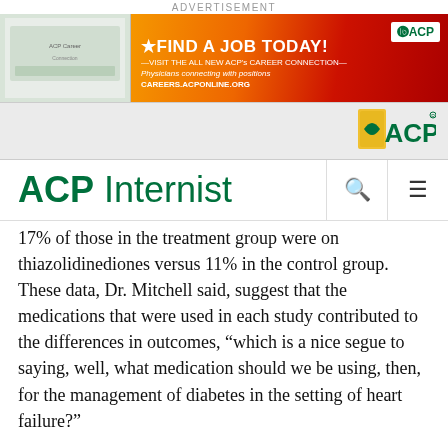ADVERTISEMENT
[Figure (other): ACP Career Connection advertisement banner: 'FIND A JOB TODAY! VISIT THE ALL NEW ACP's CAREER CONNECTION — Physicians connecting with positions — CAREERS.ACPONLINE.ORG' with ACP logo]
[Figure (logo): ACP logo in navigation bar — green shield with plant icon and ACP text]
ACP Internist
17% of those in the treatment group were on thiazolidinediones versus 11% in the control group. These data, Dr. Mitchell said, suggest that the medications that were used in each study contributed to the differences in outcomes, "which is a nice segue to saying, well, what medication should we be using, then, for the management of diabetes in the setting of heart failure?"
What medications?
“Despite the numerous agents that are available to us, first-line therapy remains metformin and comprehensive lifestyle